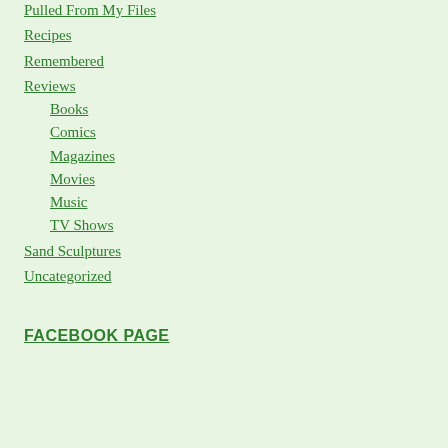Pulled From My Files
Recipes
Remembered
Reviews
Books
Comics
Magazines
Movies
Music
TV Shows
Sand Sculptures
Uncategorized
FACEBOOK PAGE
RECENT POSTS